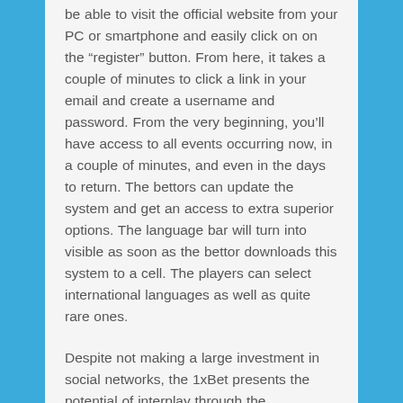be able to visit the official website from your PC or smartphone and easily click on on the “register” button. From here, it takes a couple of minutes to click a link in your email and create a username and password. From the very beginning, you’ll have access to all events occurring now, in a couple of minutes, and even in the days to return. The bettors can update the system and get an access to extra superior options. The language bar will turn into visible as soon as the bettor downloads this system to a cell. The players can select international languages as well as quite rare ones.
Despite not making a large investment in social networks, the 1xBet presents the potential of interplay through the Portuguese pages on Twitter and